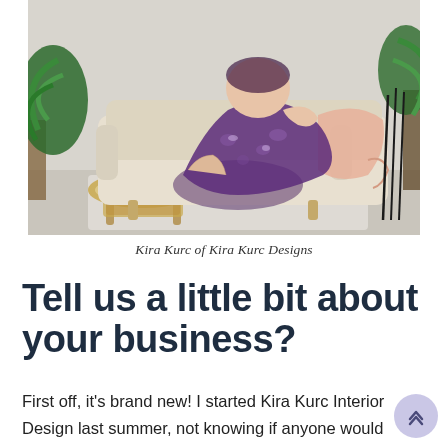[Figure (photo): A woman wearing a purple floral dress reclines on a beige sofa with a pink knitted blanket draped over one arm. A rattan/glass coffee table is in front. Green plants flank both sides. Interior design lifestyle photo.]
Kira Kurc of Kira Kurc Designs
Tell us a little bit about your business?
First off, it's brand new! I started Kira Kurc Interior Design last summer, not knowing if anyone would even bother to follow. I feel extremely fortunate that I have